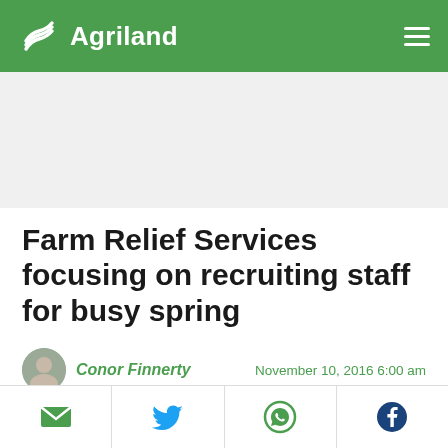Agriland
[Figure (other): Advertisement placeholder banner (grey rectangle)]
Farm Relief Services focusing on recruiting staff for busy spring
Conor Finnerty   November 10, 2016 6:00 am
[Figure (photo): Green banner with Agriland leaf logo watermark]
The Farm Relief Services Network is focusing on
[Figure (other): Social share buttons: email, Twitter, WhatsApp, Facebook]